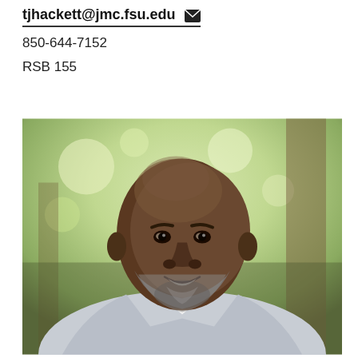tjhackett@jmc.fsu.edu
850-644-7152
RSB 155
[Figure (photo): Professional headshot of a bald African American man with a salt-and-pepper beard, wearing a light gray blazer over a white dress shirt, photographed outdoors with a blurred green and brown background.]